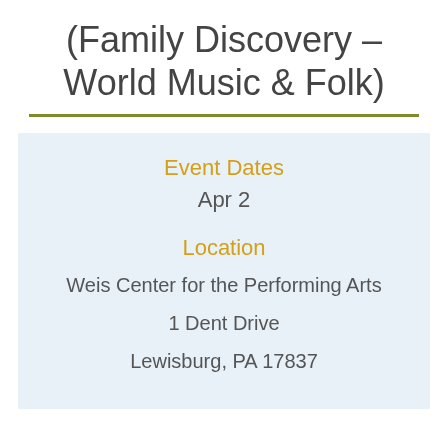(Family Discovery – World Music & Folk)
Event Dates
Apr 2
Location
Weis Center for the Performing Arts
1 Dent Drive
Lewisburg, PA 17837